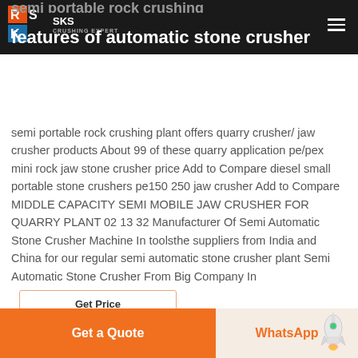SKS - CRUSHING EXPERT
features of automatic stone crusher
semi portable rock crushing plant offers quarry crusher/ jaw crusher products About 99 of these quarry application pe/pex mini rock jaw stone crusher price Add to Compare diesel small portable stone crushers pe150 250 jaw crusher Add to Compare MIDDLE CAPACITY SEMI MOBILE JAW CRUSHER FOR QUARRY PLANT 02 13 32 Manufacturer Of Semi Automatic Stone Crusher Machine In toolsthe suppliers from India and China for our regular semi automatic stone crusher plant Semi Automatic Stone Crusher From Big Company In
Get Price
Get a Quote
WhatsApp